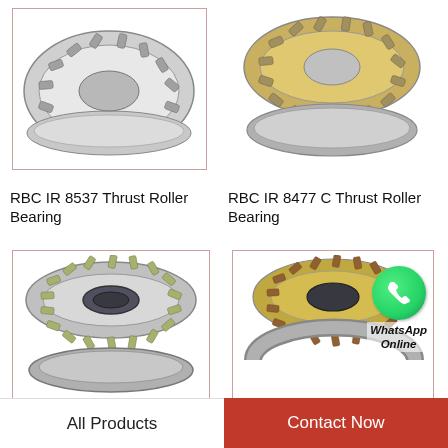[Figure (photo): RBC IR 8537 Thrust Roller Bearing product photo in bordered frame]
[Figure (photo): RBC IR 8477 C Thrust Roller Bearing product photo in bordered frame]
RBC IR 8537 Thrust Roller Bearing
RBC IR 8477 C Thrust Roller Bearing
[Figure (photo): RBC SL7355 RR10 Thrust Roller Bearing product photo in bordered frame]
[Figure (photo): RBC IR 7314 C Thrust Roller Bearing product photo in bordered frame with WhatsApp Online overlay]
RBC SL7355 RR10 Thr...
RBC IR 7314 C Thr...
All Products    Contact Now